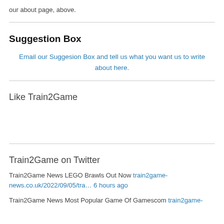our about page, above.
Suggestion Box
Email our Suggesion Box and tell us what you want us to write about here.
Like Train2Game
Train2Game on Twitter
Train2Game News LEGO Brawls Out Now train2game-news.co.uk/2022/09/05/tra… 6 hours ago
Train2Game News Most Popular Game Of Gamescom train2game-